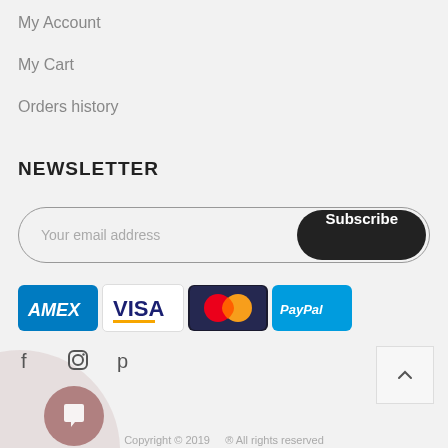My Account
My Cart
Orders history
NEWSLETTER
[Figure (infographic): Email subscription form with placeholder 'Your email address' and a dark rounded Subscribe button]
[Figure (infographic): Payment method icons: American Express (AMEX), Visa, Mastercard, PayPal]
[Figure (infographic): Social media icons for Facebook, Instagram, Pinterest]
[Figure (infographic): Chat bubble button (pink/mauve) and back-to-top arrow button]
Copyright © 2019 ... ® All rights reserved